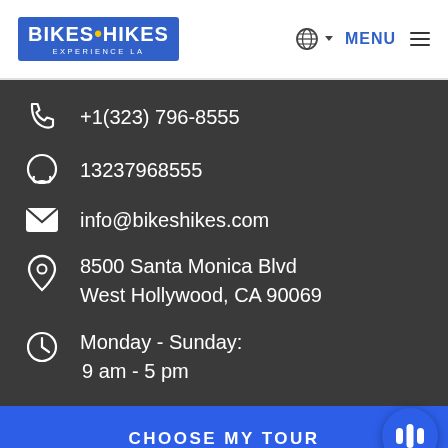[Figure (logo): Bikes and Hikes Experience LA logo with blue background and yellow dot]
MENU
+1(323) 796-8555
13237968555
info@bikeshikes.com
8500 Santa Monica Blvd
West Hollywood, CA 90069
Monday - Sunday:
9 am - 5 pm
CHOOSE MY TOUR